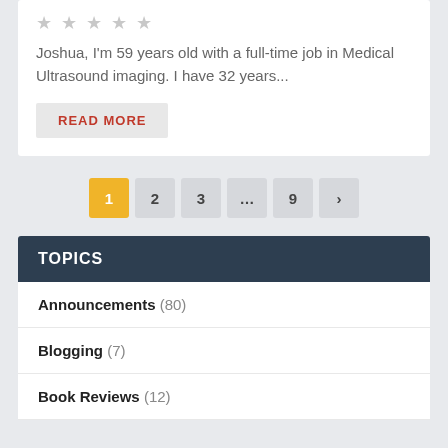★★★★★
Joshua, I'm 59 years old with a full-time job in Medical Ultrasound imaging. I have 32 years...
READ MORE
1 2 3 … 9 >
TOPICS
Announcements (80)
Blogging (7)
Book Reviews (12)